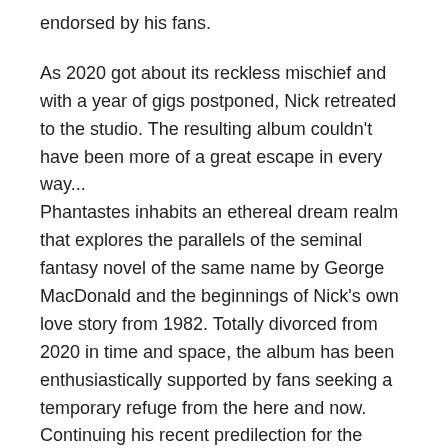endorsed by his fans.
As 2020 got about its reckless mischief and with a year of gigs postponed, Nick retreated to the studio. The resulting album couldn't have been more of a great escape in every way... Phantastes inhabits an ethereal dream realm that explores the parallels of the seminal fantasy novel of the same name by George MacDonald and the beginnings of Nick's own love story from 1982. Totally divorced from 2020 in time and space, the album has been enthusiastically supported by fans seeking a temporary refuge from the here and now. Continuing his recent predilection for the spoken word, Nick cemented the bond between his music and the aforementioned book by recording an audiobook of Phantastes, with musical interpretations of George MacDonald's poems and